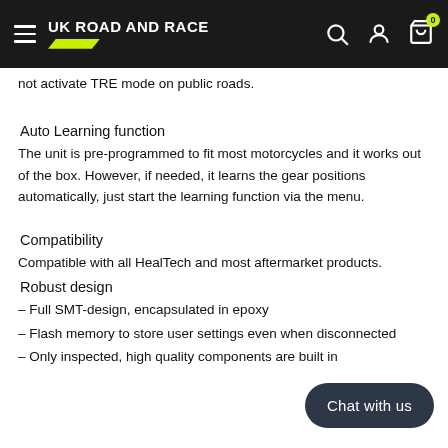UK Road and Race
not activate TRE mode on public roads.
Auto Learning function
The unit is pre-programmed to fit most motorcycles and it works out of the box. However, if needed, it learns the gear positions automatically, just start the learning function via the menu.
Compatibility
Compatible with all HealTech and most aftermarket products.
Robust design
– Full SMT-design, encapsulated in epoxy
– Flash memory to store user settings even when disconnected
– Only inspected, high quality components are built in